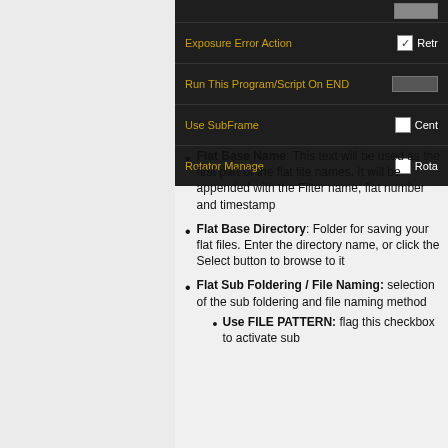[Figure (screenshot): Dark-themed settings panel showing rows: Exposure Error Action (checked checkbox, Retr... text), Run This Program/Script On END (input box), Use SubFrame (unchecked checkbox, Cent... text), Rotator Manage (unchecked checkbox, Rota... text)]
Flat Base Name: This text will be used as the first part of the flat file names. It will be appended with the Filter name, flat number and timestamp
Flat Base Directory: Folder for saving your flat files. Enter the directory name, or click the Select button to browse to it
Flat Sub Foldering / File Naming: selection of the sub foldering and file naming method
Use FILE PATTERN: flag this checkbox to activate sub